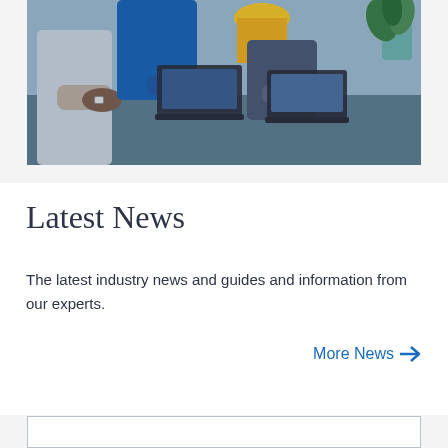[Figure (photo): People working at laptops at a table in an office setting, with a plant visible in the upper right corner.]
Latest News
The latest industry news and guides and information from our experts.
More News →